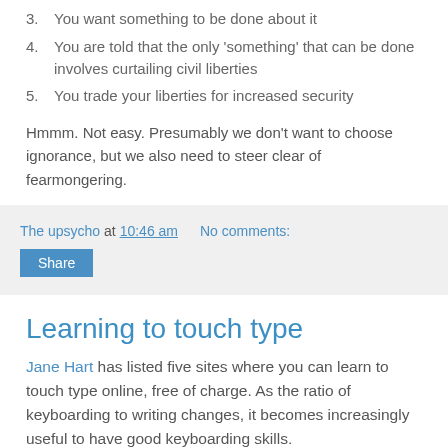3. You want something to be done about it
4. You are told that the only 'something' that can be done involves curtailing civil liberties
5. You trade your liberties for increased security
Hmmm. Not easy. Presumably we don't want to choose ignorance, but we also need to steer clear of fearmongering.
The upsycho at 10:46 am   No comments:
Share
Learning to touch type
Jane Hart has listed five sites where you can learn to touch type online, free of charge. As the ratio of keyboarding to writing changes, it becomes increasingly useful to have good keyboarding skills.
When I was at school, typing was only available to girls and